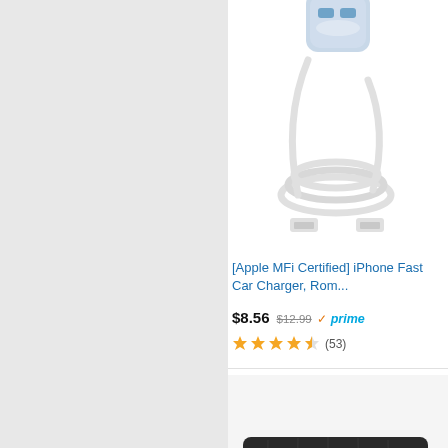[Figure (photo): Car charger with USB ports and white cable, partially cropped at top]
[Apple MFi Certified] iPhone Fast Car Charger, Rom...
$8.56 $12.99 prime
4.5 stars (53)
[Figure (photo): Rightline Gear rooftop cargo bag mounted on car roof rack]
Rightline Gear Range Jr Weatherproof Rooftop ...
$67.95 $79.95 prime
4.5 stars (419)